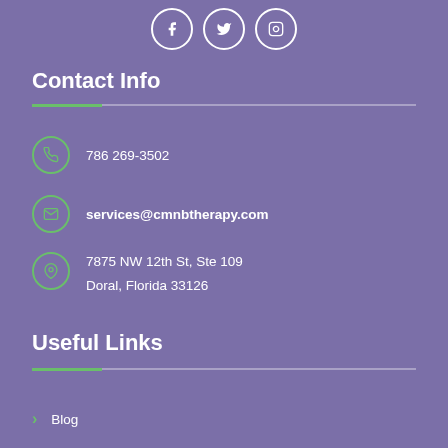[Figure (other): Social media icons: Facebook, Twitter, Instagram in white circles on purple background]
Contact Info
786 269-3502
services@cmnbtherapy.com
7875 NW 12th St, Ste 109
Doral, Florida 33126
Useful Links
Blog